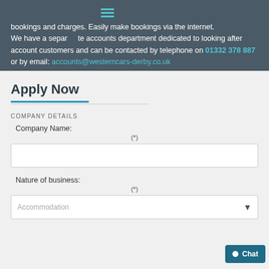bookings and charges. Easily make bookings via the internet. We have a separate accounts department dedicated to looking after account customers and can be contacted by telephone on 01332 378 887 or by email: accounts@westerncars-derby.co.uk
Apply Now
COMPANY DETAILS
Company Name: (*)
Nature of business: (*)
Accommodation